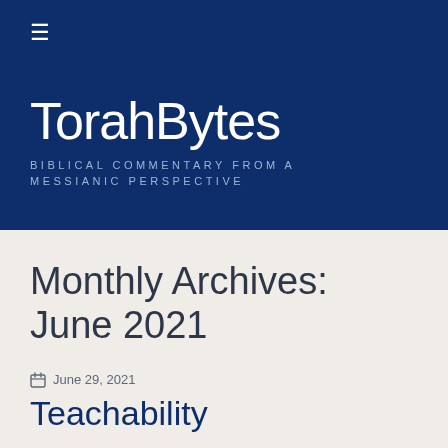≡
TorahBytes
BIBLICAL COMMENTARY FROM A MESSIANIC PERSPECTIVE
Monthly Archives: June 2021
June 29, 2021
Teachability